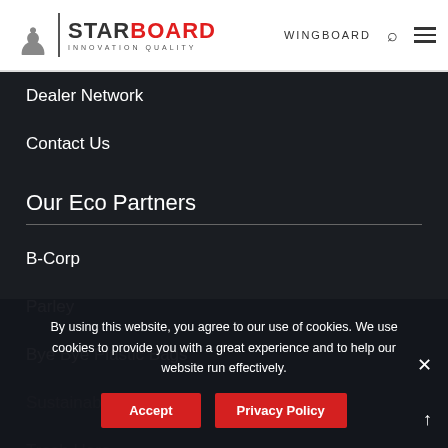[Figure (logo): Starboard logo with icon, vertical divider, STARBOARD text with BOARD in red, and INNOVATION QUALITY subtitle]
WINGBOARD
Dealer Network
Contact Us
Our Eco Partners
B-Corp
Parley
Bye Bye Plastic Bags
Sustainable Surf
Trash Hero
UNTIL
By using this website, you agree to our use of cookies. We use cookies to provide you with a great experience and to help our website run effectively.